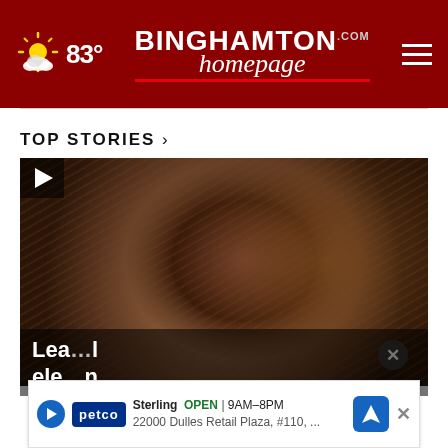83° | BINGHAMTON homepage.com
TOP STORIES »
[Figure (photo): Close-up video thumbnail of a Black woman with braided hair, serious expression, in what appears to be an office or studio setting. A play button icon is visible in the upper left corner.]
Lea... election
Sterling  OPEN  9AM–8PM  22000 Dulles Retail Plaza, #110, ..  [Petco ad banner with navigation icon and close button]